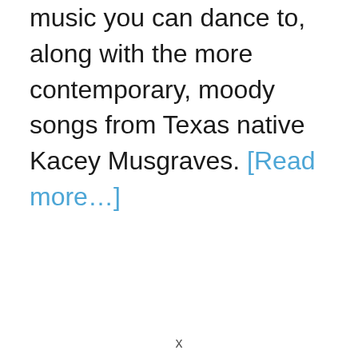music you can dance to, along with the more contemporary, moody songs from Texas native Kacey Musgraves. [Read more…]
x